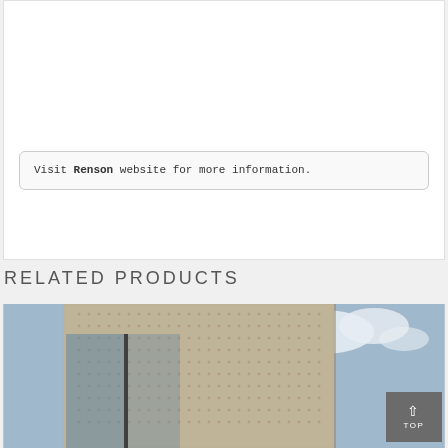[Figure (photo): Outdoor patio with dark wicker/rattan furniture on a light grey wood deck, green hedge in background]
Visit Renson website for more information.
RELATED PRODUCTS
[Figure (photo): Modern building facade with perforated metal screen panels and glass windows against a blue sky]
TOP